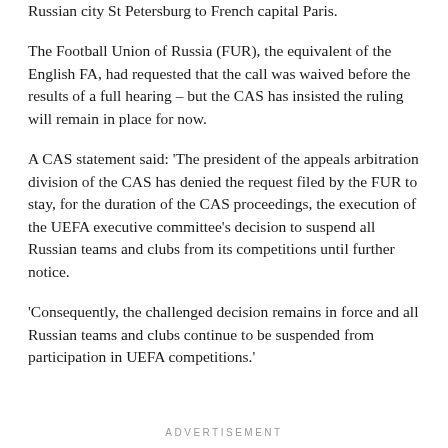Russian city St Petersburg to French capital Paris.
The Football Union of Russia (FUR), the equivalent of the English FA, had requested that the call was waived before the results of a full hearing – but the CAS has insisted the ruling will remain in place for now.
A CAS statement said: 'The president of the appeals arbitration division of the CAS has denied the request filed by the FUR to stay, for the duration of the CAS proceedings, the execution of the UEFA executive committee's decision to suspend all Russian teams and clubs from its competitions until further notice.
'Consequently, the challenged decision remains in force and all Russian teams and clubs continue to be suspended from participation in UEFA competitions.'
ADVERTISEMENT